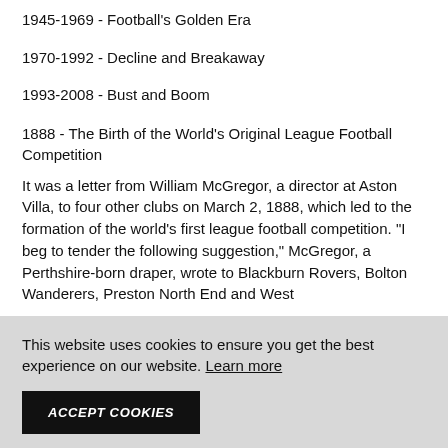1945-1969 - Football's Golden Era
1970-1992 - Decline and Breakaway
1993-2008 - Bust and Boom
1888 - The Birth of the World's Original League Football Competition
It was a letter from William McGregor, a director at Aston Villa, to four other clubs on March 2, 1888, which led to the formation of the world's first league football competition. "I beg to tender the following suggestion," McGregor, a Perthshire-born draper, wrote to Blackburn Rovers, Bolton Wanderers, Preston North End and West
This website uses cookies to ensure you get the best experience on our website. Learn more
ACCEPT COOKIES